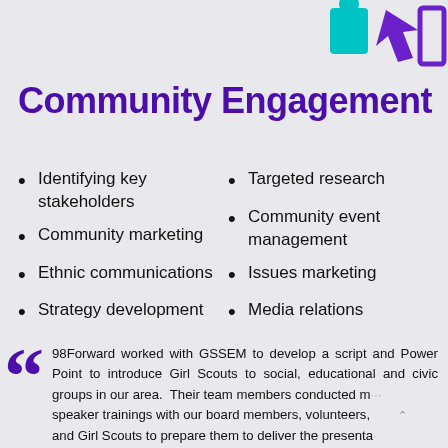[Figure (illustration): Decorative icons in teal and purple representing community engagement, positioned top right]
Community Engagement
Identifying key stakeholders
Community marketing
Ethnic communications
Strategy development
Targeted research
Community event management
Issues marketing
Media relations
98Forward worked with GSSEM to develop a script and Power Point to introduce Girl Scouts to social, educational and civic groups in our area.  Their team members conducted m speaker trainings with our board members, volunteers, and Girl Scouts to prepare them to deliver the presenta